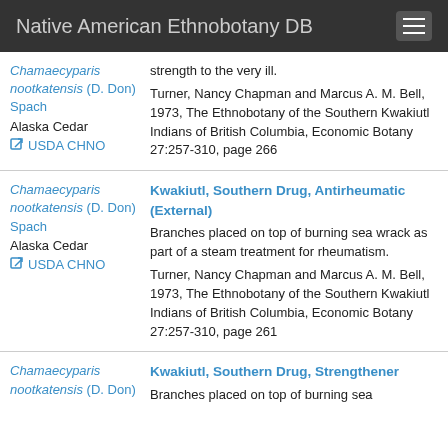Native American Ethnobotany DB
Chamaecyparis nootkatensis (D. Don) Spach
Alaska Cedar
USDA CHNO
strength to the very ill.
Turner, Nancy Chapman and Marcus A. M. Bell, 1973, The Ethnobotany of the Southern Kwakiutl Indians of British Columbia, Economic Botany 27:257-310, page 266
Chamaecyparis nootkatensis (D. Don) Spach
Alaska Cedar
USDA CHNO
Kwakiutl, Southern Drug, Antirheumatic (External)
Branches placed on top of burning sea wrack as part of a steam treatment for rheumatism.
Turner, Nancy Chapman and Marcus A. M. Bell, 1973, The Ethnobotany of the Southern Kwakiutl Indians of British Columbia, Economic Botany 27:257-310, page 261
Chamaecyparis nootkatensis (D. Don) Spach
Kwakiutl, Southern Drug, Strengthener
Branches placed on top of burning sea...